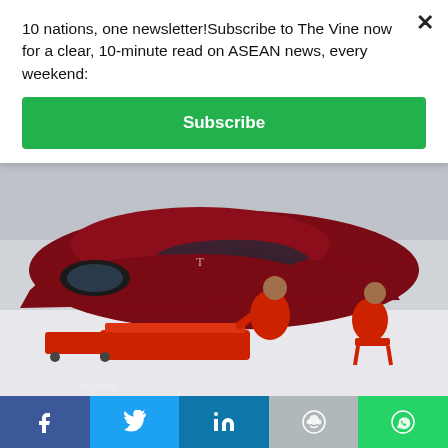10 nations, one newsletter!Subscribe to The Vine now for a clear, 10-minute read on ASEAN news, every weekend:
[Figure (other): Subscribe button (green) with white bold text 'Subscribe']
[Figure (photo): Workers in red uniforms working on a dark red Tesla electric vehicle on a factory assembly floor, with red robotic/mechanical platforms underneath the car.]
Indonesia asks Tesla to produce electric vehicles
[Figure (other): Social share bar with Facebook, Twitter, LinkedIn, Reddit, and WhatsApp icons]